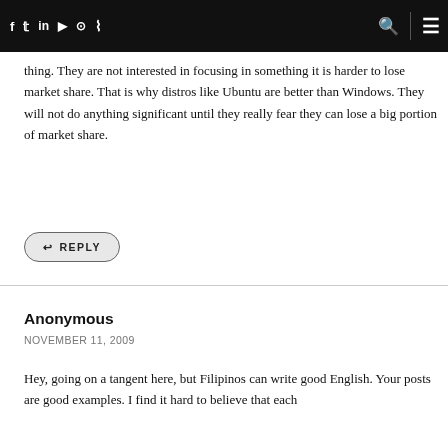f  t  in  yt  inst  rss  [search] [menu]
thing. They are not interested in focusing in something it is harder to lose market share. That is why distros like Ubuntu are better than Windows. They will not do anything significant until they really fear they can lose a big portion of market share.
↩ REPLY
Anonymous
NOVEMBER 11, 2009
Hey, going on a tangent here, but Filipinos can write good English. Your posts are good examples. I find it hard to believe that each